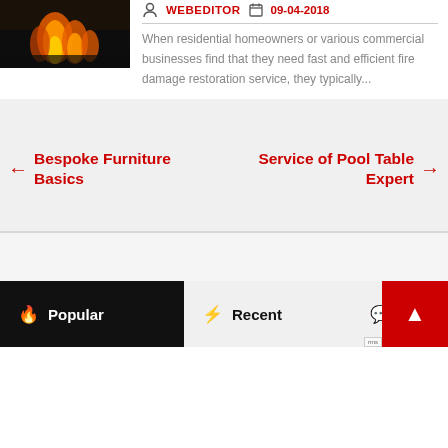[Figure (photo): Thumbnail image of fire/flames, dark background with orange flames visible]
WEBEDITOR  09-04-2018
When residential homeowners or various commercial businesses find that they need fast and efficient fire damage restoration service, they typically...
← Bespoke Furniture Basics
Service of Pool Table Expert →
🔥 Popular   ⚡ Recent   💬 Comm...